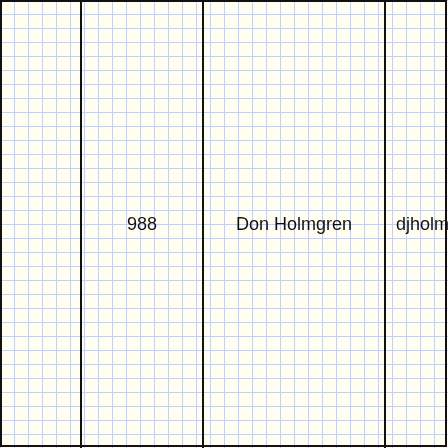|  | 988 | Don Holmgren | djholm(at)comca |
| --- | --- | --- | --- |
|  | 988 | Don Holmgren | djholm(at)comca |